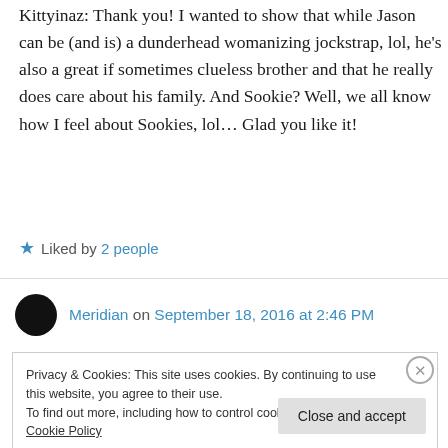Kittyinaz: Thank you! I wanted to show that while Jason can be (and is) a dunderhead womanizing jockstrap, lol, he's also a great if sometimes clueless brother and that he really does care about his family. And Sookie? Well, we all know how I feel about Sookies, lol… Glad you like it!
★ Liked by 2 people
Meridian on September 18, 2016 at 2:46 PM
Privacy & Cookies: This site uses cookies. By continuing to use this website, you agree to their use.
To find out more, including how to control cookies, see here: Cookie Policy
Close and accept